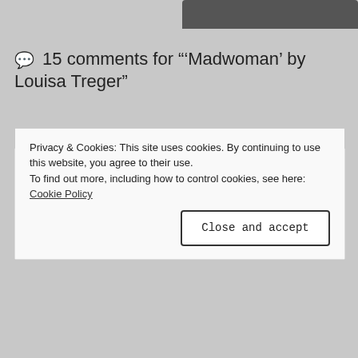💬 15 comments for "'Madwoman' by Louisa Treger"
nickimags @ Secret Library Book Blog
June 17, 2022 at 1:01 pm

Wow wonderful review Eva! I definitely want to read or listen to this one! xx
Privacy & Cookies: This site uses cookies. By continuing to use this website, you agree to their use.
To find out more, including how to control cookies, see here: Cookie Policy

[Close and accept]